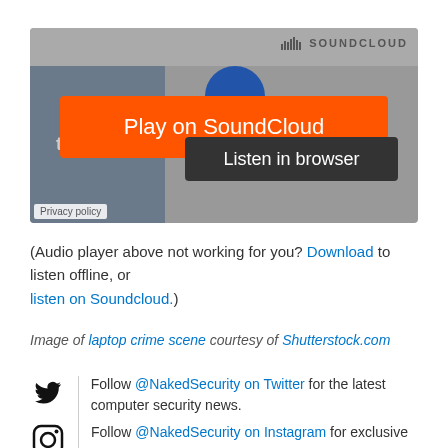[Figure (screenshot): SoundCloud embedded audio player widget showing orange 'Play on SoundCloud' button and dark 'Listen in browser' button with techknow branding]
(Audio player above not working for you? Download to listen offline, or listen on Soundcloud.)
Image of laptop crime scene courtesy of Shutterstock.com
Follow @NakedSecurity on Twitter for the latest computer security news.
Follow @NakedSecurity on Instagram for exclusive